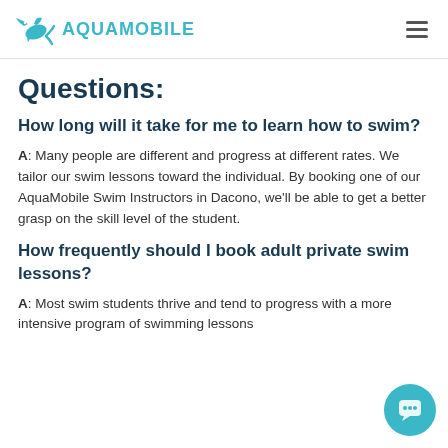AQUAMOBILE
Questions:
How long will it take for me to learn how to swim?
A: Many people are different and progress at different rates. We tailor our swim lessons toward the individual. By booking one of our AquaMobile Swim Instructors in Dacono, we'll be able to get a better grasp on the skill level of the student.
How frequently should I book adult private swim lessons?
A: Most swim students thrive and tend to progress with a more intensive program of swimming lessons